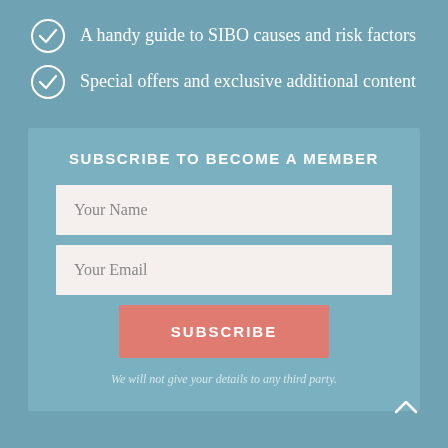A handy guide to SIBO causes and risk factors
Special offers and exclusive additional content
SUBSCRIBE TO BECOME A MEMBER
Your Name
Your Email
SUBSCRIBE
We will not give your details to any third party.